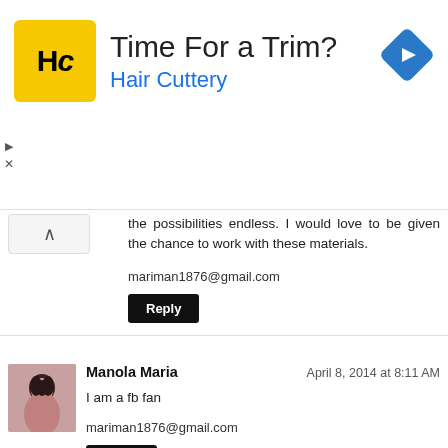[Figure (infographic): Advertisement banner for Hair Cuttery with logo (HC in yellow square), headline 'Time For a Trim?' and subtext 'Hair Cuttery', plus a blue navigation diamond icon on the right.]
the possibilities endless. I would love to be given the chance to work with these materials.
mariman1876@gmail.com
Reply
Manola Maria
April 8, 2014 at 8:11 AM
I am a fb fan
mariman1876@gmail.com
Reply
Manola Maria
April 8, 2014 at 8:12 AM
I just shared on my fb page